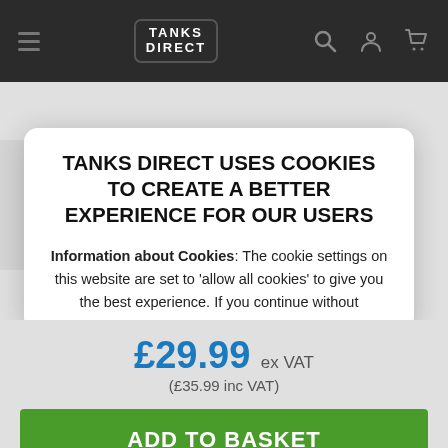[Figure (screenshot): Tanks Direct website header with dark background, hamburger menu, logo, search and cart icons]
TANKS DIRECT USES COOKIES TO CREATE A BETTER EXPERIENCE FOR OUR USERS
Information about Cookies: The cookie settings on this website are set to 'allow all cookies' to give you the best experience. If you continue without
£29.99 ex VAT (£35.99 inc VAT)
ADD TO BASKET
ENQUIRE
REVIEW
PRICE MATCH